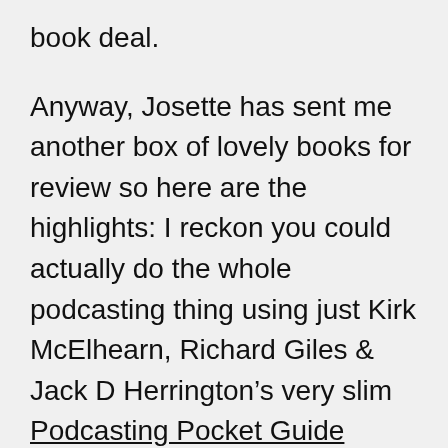book deal.
Anyway, Josette has sent me another box of lovely books for review so here are the highlights: I reckon you could actually do the whole podcasting thing using just Kirk McElhearn, Richard Giles & Jack D Herrington’s very slim Podcasting Pocket Guide without going out and buying its companion – the much fatter Podcasting Hacks (and it’s got a mini-directory of podcasts at the back like those directories of web sites we used to buy in the old days).